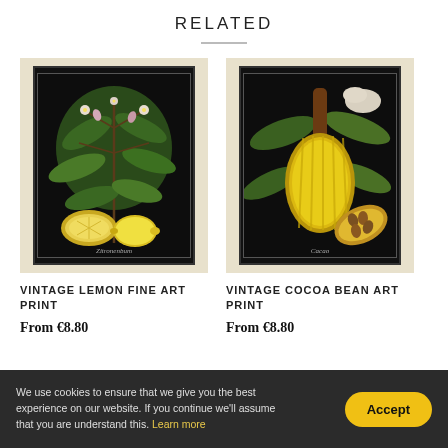RELATED
[Figure (illustration): Vintage botanical lemon art print on black background with beige mat border, showing lemon tree branches with leaves, flowers, and sliced lemons. Label reads 'Zitronenbum'.]
VINTAGE LEMON FINE ART PRINT
From €8.80
[Figure (illustration): Vintage botanical cocoa bean art print on black background with beige mat border, showing cocoa pods, leaves, flowers, and a cross-section of a cocoa pod with beans. Label reads 'Cacao'.]
VINTAGE COCOA BEAN ART PRINT
From €8.80
We use cookies to ensure that we give you the best experience on our website. If you continue we'll assume that you are understand this. Learn more